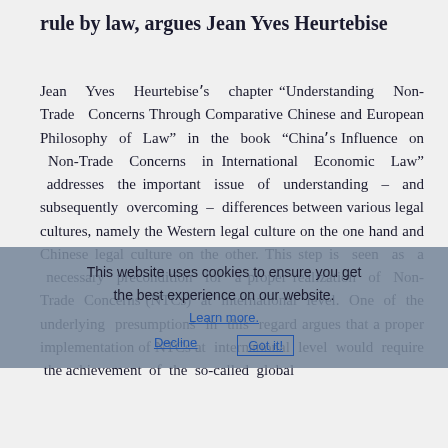rule by law, argues Jean Yves Heurtebise
Jean Yves Heurtebiseʼs chapter “Understanding Non-Trade Concerns Through Comparative Chinese and European Philosophy of Law” in the book “Chinaʼs Influence on Non-Trade Concerns in International Economic Law” addresses the important issue of understanding – and subsequently overcoming – differences between various legal cultures, namely the Western legal culture on the one hand and Chinese legal culture on the other. This step is seen as a necessary precondition for a proper realization of Non-Trade Concerns (NTCs) at international level. One of the underlying presumptions in this regard argues that a proper implementation of NTCs at international level would require the achievement of the so-called global